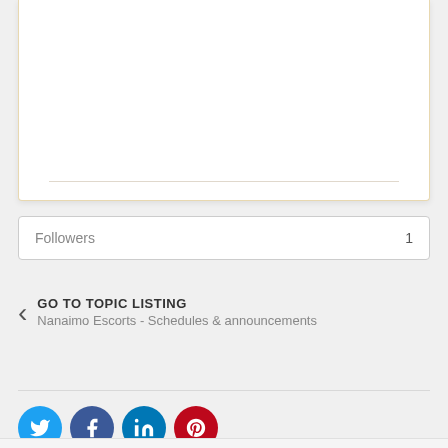Followers  1
GO TO TOPIC LISTING
Nanaimo Escorts - Schedules & announcements
[Figure (other): Social sharing icons: Twitter (blue), Facebook (dark blue), LinkedIn (blue), Pinterest (red)]